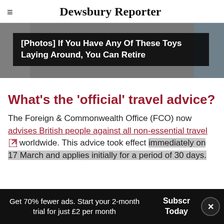Dewsbury Reporter
[Figure (screenshot): Advertisement banner with dark overlay showing text: [Photos] If You Have Any Of These Toys Laying Around, You Can Retire]
What's the 'official' travel advice?
The Foreign & Commonwealth Office (FCO) now advises British people against all non-essential travel worldwide. This advice took effect immediately on 17 March and applies initially for a period of 30 days.
Get 70% fewer ads. Start your 2-month trial for just £2 per month   Subscribe Today